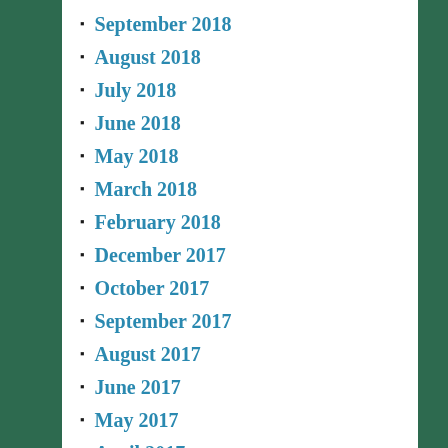September 2018
August 2018
July 2018
June 2018
May 2018
March 2018
February 2018
December 2017
October 2017
September 2017
August 2017
June 2017
May 2017
April 2017
March 2017
January 2017
December 2016
November 2016
September 2016
August 2016
July 2016